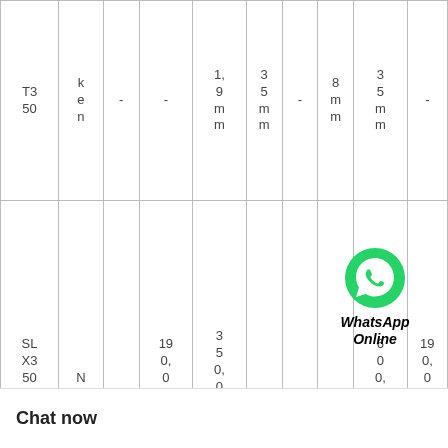| T350 | k e n | - | - | 1, 9 m m | 3 5 m m | - | 8 m m | 3 5 m m | - |
| SL X3 50 X6 00 X1 90 | N T N | - | 19 0, 0 0 0 m m | 3 5 0, 0 0 0 m m | - | - | - | 6 0 0, 0 0 m m | 19 0, 0 0 0 m m |
| SL X3 50 X6 00 | N T N | - | 2 8 0, 0 0 0 | 3 5 0, 0 0 | - | - | - | 6 0 0, 0 0 0 m m | 2 8 0, 0 0 0 m m |
[Figure (other): WhatsApp Online chat button overlay with green phone icon and bold italic text 'WhatsApp Online']
Chat now